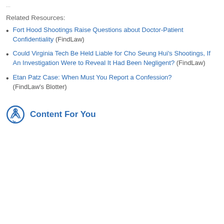Related Resources:
Fort Hood Shootings Raise Questions about Doctor-Patient Confidentiality (FindLaw)
Could Virginia Tech Be Held Liable for Cho Seung Hui's Shootings, If An Investigation Were to Reveal It Had Been Negligent? (FindLaw)
Etan Patz Case: When Must You Report a Confession? (FindLaw's Blotter)
Content For You